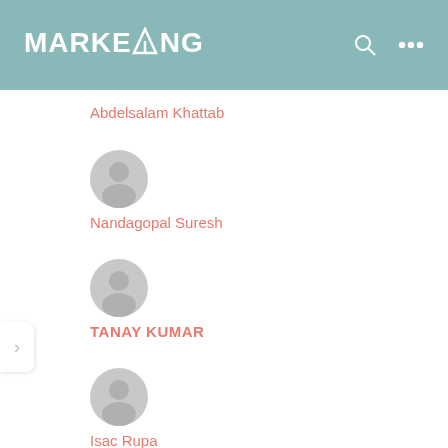[Figure (screenshot): App header with MARKETANG logo in white on teal background, search icon and ellipsis menu icon on right]
Abdelsalam Khattab
Nandagopal Suresh
TANAY KUMAR
Isac Rupa
(partial avatar visible)